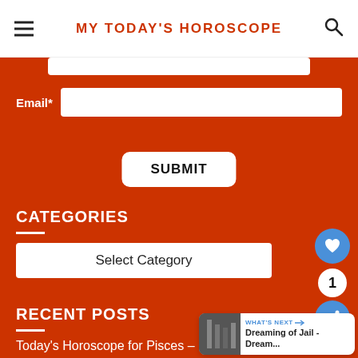MY TODAY'S HOROSCOPE
Email*
SUBMIT
CATEGORIES
Select Category
RECENT POSTS
Today's Horoscope for Pisces – Love, Money, Career and
WHAT'S NEXT → Dreaming of Jail - Dream...